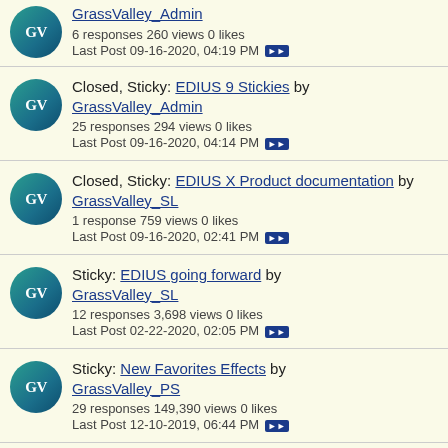GrassValley_Admin
6 responses 260 views 0 likes
Last Post 09-16-2020, 04:19 PM
Closed, Sticky: EDIUS 9 Stickies by GrassValley_Admin
25 responses 294 views 0 likes
Last Post 09-16-2020, 04:14 PM
Closed, Sticky: EDIUS X Product documentation by GrassValley_SL
1 response 759 views 0 likes
Last Post 09-16-2020, 02:41 PM
Sticky: EDIUS going forward by GrassValley_SL
12 responses 3,698 views 0 likes
Last Post 02-22-2020, 02:05 PM
Sticky: New Favorites Effects by GrassValley_PS
29 responses 149,390 views 0 likes
Last Post 12-10-2019, 06:44 PM
SD DVD looking good here by Tobe